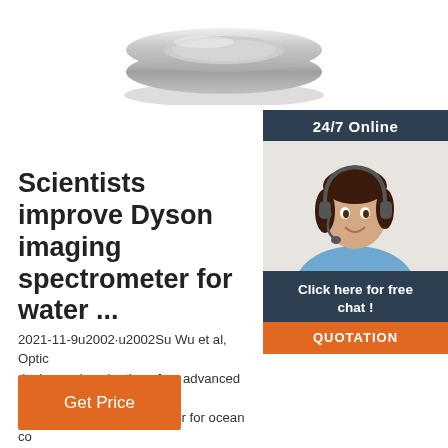[Figure (photo): Optical lens or ring product photo at top of page]
Scientists improve Dyson imaging spectrometer for water ...
2021-11-9u2002·u2002Su Wu et al, Optical design and evaluation of an advanced scan Dyson imaging spectrometer for ocean co Optics Express (2021). DOI: 10.1364/OE.4 Journal information: Optics Express
[Figure (photo): Sidebar with 24/7 Online chat support agent photo, Click here for free chat! button, and QUOTATION button]
Get Price